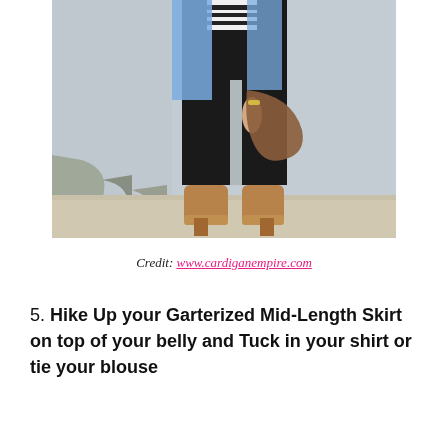[Figure (photo): A woman walking on a sidewalk against a concrete wall. She wears black skinny jeans, a striped top, an open denim jacket, and tan/camel ankle boots. She carries a brown bag. Only the body from mid-torso down is visible.]
Credit: www.cardiganempire.com
5. Hike Up your Garterized Mid-Length Skirt on top of your belly and Tuck in your shirt or tie your blouse